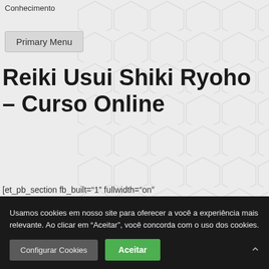... para transformar as pessoas através do Conhecimento
Primary Menu
Reiki Usui Shiki Ryoho – Curso Online
[et_pb_section fb_built="1" fullwidth="on" _builder_version="4.0.8"][et_pb_fullwidth_header title="Reiki Usui Shiki Ryoho" subhead="Nível 1 ao Mestrado"
Usamos cookies em nosso site para oferecer a você a experiência mais relevante. Ao clicar em "Aceitar", você concorda com o uso dos cookies.
Configurar Cookies
Aceitar